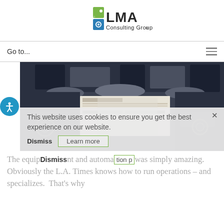[Figure (logo): LMA Consulting Group logo with green and blue icon and text]
Go to...
[Figure (photo): Printing press machinery with newspapers being printed, LA Times printing facility]
This website uses cookies to ensure you get the best experience on our website.
The equipment and automation was simply amazing.  Obviously the L.A. Times knows how to run operations – and specializes.  That's why